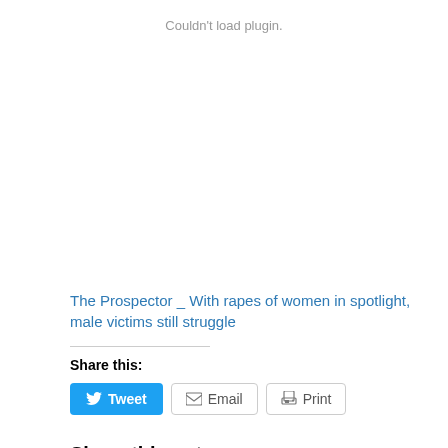Couldn't load plugin.
The Prospector _ With rapes of women in spotlight, male victims still struggle
Share this:
Tweet
Email
Print
Share this entry